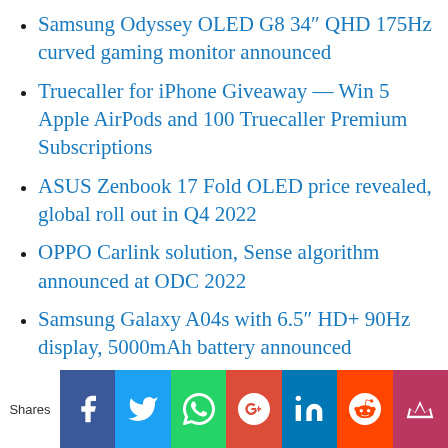Samsung Odyssey OLED G8 34″ QHD 175Hz curved gaming monitor announced
Truecaller for iPhone Giveaway — Win 5 Apple AirPods and 100 Truecaller Premium Subscriptions
ASUS Zenbook 17 Fold OLED price revealed, global roll out in Q4 2022
OPPO Carlink solution, Sense algorithm announced at ODC 2022
Samsung Galaxy A04s with 6.5″ HD+ 90Hz display, 5000mAh battery announced
Infinix Zero 5G, NOTE 11 and NOTE 12 Android 12 update to roll out this September
Shares [Facebook] [Twitter] [WhatsApp] [Google+] [LinkedIn] [Reddit] [Crown]